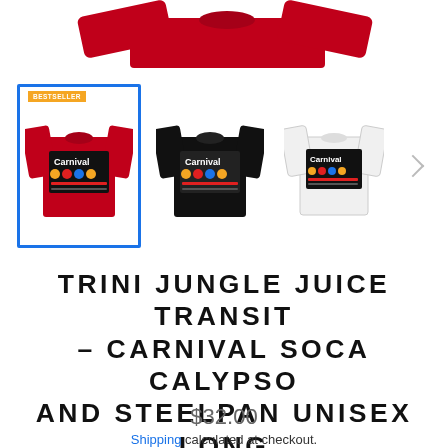[Figure (photo): Top of red long sleeve shirt cropped, showing the upper portion of a red shirt with sleeves spread]
[Figure (photo): Three thumbnail product images of long sleeve tees: red (selected with blue border), black, and white, each showing 'Carnival' graphic design on the chest]
TRINI JUNGLE JUICE TRANSIT - CARNIVAL SOCA CALYPSO AND STEELPAN UNISEX LONG SLEEVE TEE
$32.00
Shipping calculated at checkout.